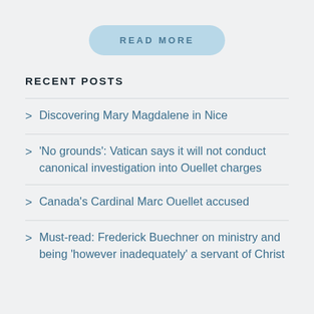[Figure (other): READ MORE button with rounded pill shape and light blue background]
RECENT POSTS
Discovering Mary Magdalene in Nice
'No grounds': Vatican says it will not conduct canonical investigation into Ouellet charges
Canada's Cardinal Marc Ouellet accused
Must-read: Frederick Buechner on ministry and being 'however inadequately' a servant of Christ